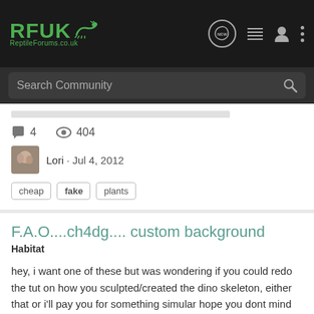[Figure (logo): RFUK Reptile Forums UK logo with green text and lizard icon on dark background]
Search Community
4  404
Lori · Jul 4, 2012
cheap  fake  plants
F.A.O....ch4dg.... custom background
Habitat
hey, i want one of these but was wondering if you could redo the tut on how you sculpted/created the dino skeleton, either that or i'll pay you for something simular hope you dont mind me borrowing your pics?!
0  496
dinostore · Jun 7, 2012